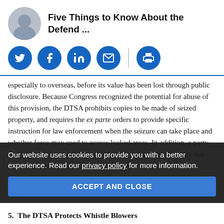Five Things to Know About the Defend ...
[Figure (other): Social media share icons: Twitter, Facebook, LinkedIn, Email, Print]
especially to overseas, before its value has been lost through public disclosure. Because Congress recognized the potential for abuse of this provision, the DTSA prohibits copies to be made of seized property, and requires the ex parte orders to provide specific instruction for law enforcement when the seizure can take place and whether force may used to access locked areas. In addition, a party seeking an ex parte seizure must first establish with the court that other less drastic remedies are inadequate
Our website uses cookies to provide you with a better experience. Read our privacy policy for more information.
ACCEPT AND CLOSE
5.  The DTSA Protects Whistle Blowers